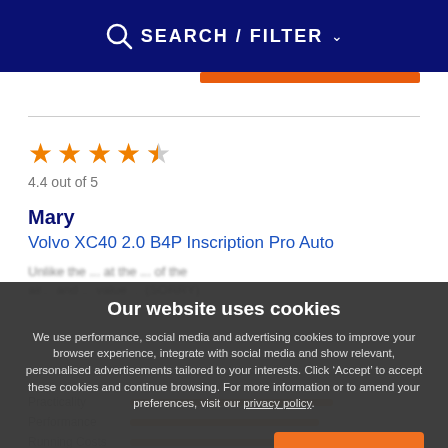SEARCH / FILTER
4.4 out of 5
Mary
Volvo XC40 2.0 B4P Inscription Pro Auto
Our website uses cookies
We use performance, social media and advertising cookies to improve your browser experience, integrate with social media and show relevant, personalised advertisements tailored to your interests. Click ‘Accept’ to accept these cookies and continue browsing. For more information or to amend your preferences, visit our privacy policy.
Change Settings
✓ ACCEPT